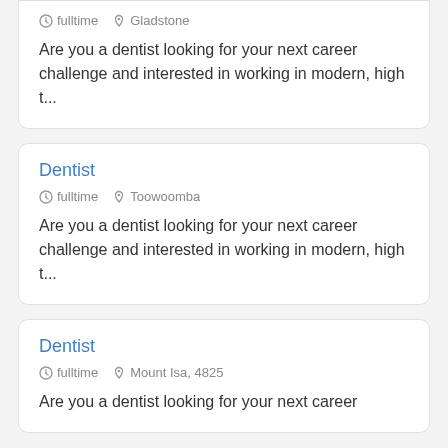fulltime  Gladstone
Are you a dentist looking for your next career challenge and interested in working in modern, high t...
Dentist
fulltime  Toowoomba
Are you a dentist looking for your next career challenge and interested in working in modern, high t...
Dentist
fulltime  Mount Isa, 4825
Are you a dentist looking for your next career